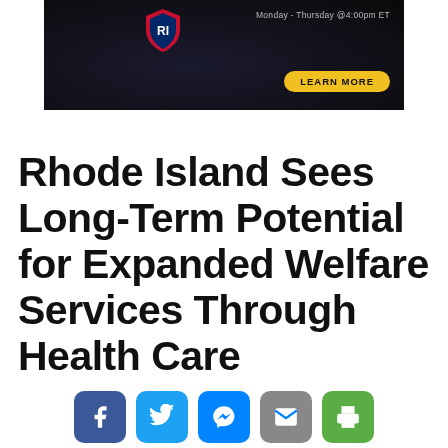[Figure (other): Dark advertisement banner with shield/logo graphic, text 'Monday - Thursday @4:00pm ET' and a yellow 'LEARN MORE' button]
Rhode Island Sees Long-Term Potential for Expanded Welfare Services Through Health Care
[Figure (other): Social sharing bar with Facebook, Twitter, Messenger, Email, and Print icons]